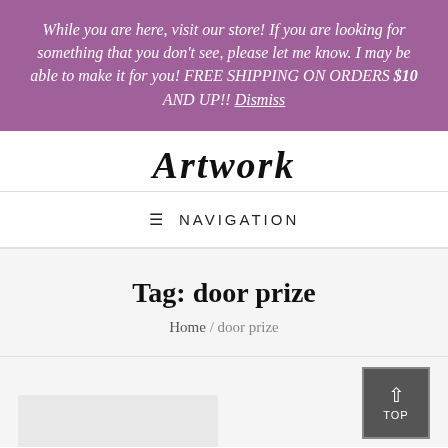While you are here, visit our store! If you are looking for something that you don't see, please let me know. I may be able to make it for you! FREE SHIPPING ON ORDERS $10 AND UP!! Dismiss
Artwork
≡ NAVIGATION
Tag: door prize
Home / door prize
[Figure (other): Top button with upward arrow and TOP label, and partial card/image preview at bottom]